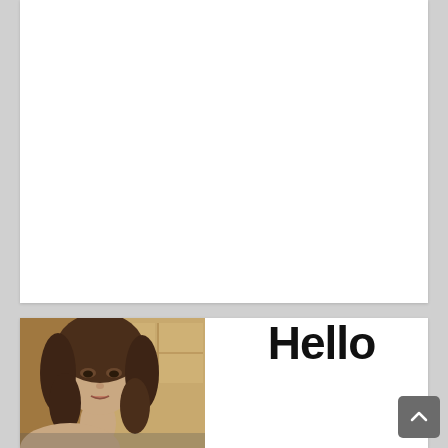[Figure (other): White blank card area at top of page]
[Figure (photo): Photo of a young woman with long curly brown hair, looking slightly to the side, against a light background]
Hello